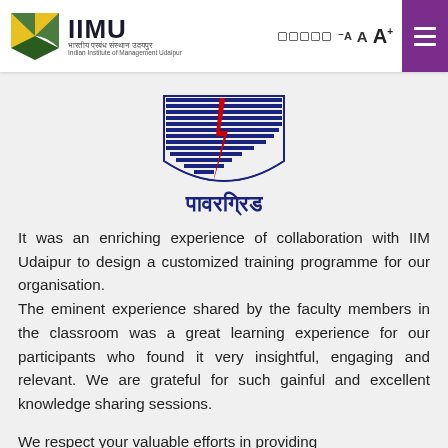IIMU — Indian Institute of Management Udaipur
[Figure (logo): PowerGrid (Power Grid Corporation of India) logo with blue shield/lines design and Hindi text पावरग्रिड]
It was an enriching experience of collaboration with IIM Udaipur to design a customized training programme for our organisation. The eminent experience shared by the faculty members in the classroom was a great learning experience for our participants who found it very insightful, engaging and relevant. We are grateful for such gainful and excellent knowledge sharing sessions.
We respect your valuable efforts in providing